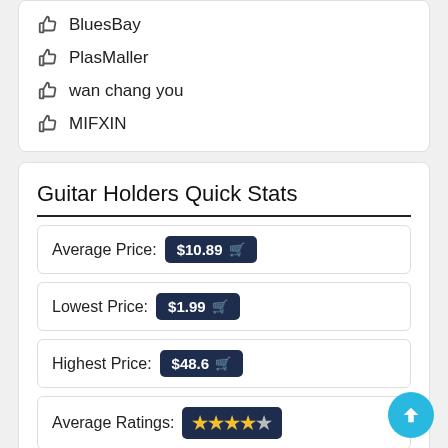Bonux
BluesBay
PlasMaller
wan chang you
MIFXIN
Guitar Holders Quick Stats
Average Price: $10.89
Lowest Price: $1.99
Highest Price: $48.6
Average Ratings: ★★★★★